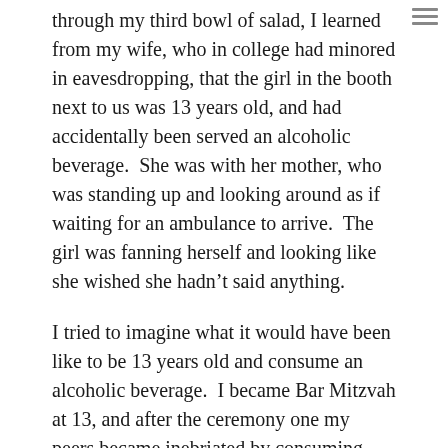through my third bowl of salad, I learned from my wife, who in college had minored in eavesdropping, that the girl in the booth next to us was 13 years old, and had accidentally been served an alcoholic beverage.  She was with her mother, who was standing up and looking around as if waiting for an ambulance to arrive.  The girl was fanning herself and looking like she wished she hadn't said anything.
I tried to imagine what it would have been like to be 13 years old and consume an alcoholic beverage.  I became Bar Mitzvah at 13, and after the ceremony one my peers became inebriated by consuming several of the plastic thimbles that the congregation used to sanctify the Sabbath.  He spent the next few hours pretending he was a helicopter.  I think he does something with computers now.